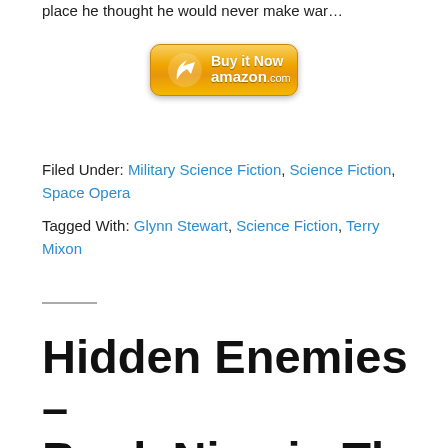place he thought he would never make war…
[Figure (other): Amazon 'Buy it Now' button with arrow icon and amazon.com logo]
Filed Under: Military Science Fiction, Science Fiction, Space Opera
Tagged With: Glynn Stewart, Science Fiction, Terry Mixon
Hidden Enemies – Book Nine in The Empire of Bones Saga